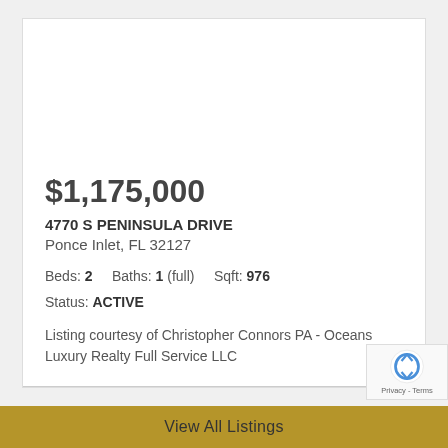$1,175,000
4770 S PENINSULA DRIVE
Ponce Inlet, FL 32127
Beds: 2    Baths: 1 (full)    Sqft: 976
Status: ACTIVE
Listing courtesy of Christopher Connors PA - Oceans Luxury Realty Full Service LLC
View All Listings